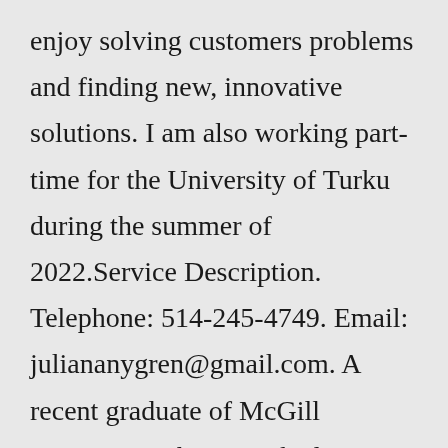enjoy solving customers problems and finding new, innovative solutions. I am also working part-time for the University of Turku during the summer of 2022.Service Description. Telephone: 514-245-4749. Email: juliananygren@gmail.com. A recent graduate of McGill University, I have worked on writing grants and sourcing corporate sponsorship for such organizations as the Canadian Arab